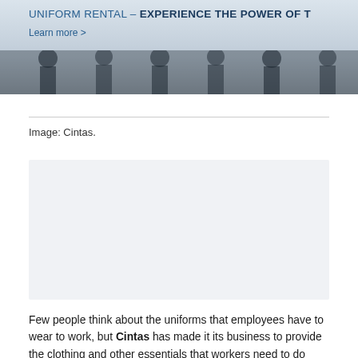[Figure (photo): Banner image showing uniformed employees with overlay text: UNIFORM RENTAL – EXPERIENCE THE POWER OF T... and Learn more >]
Image: Cintas.
[Figure (other): Gray placeholder box, likely an advertisement or video embed area]
Few people think about the uniforms that employees have to wear to work, but Cintas has made it its business to provide the clothing and other essentials that workers need to do their jobs. Coming into Tuesday's fiscal third-quarter financial report, Cintas investors were hoping that the company would be able to continue to grow by adding new customers and looking for smart ways to expand its reach. The results that Cintas posted were better than most